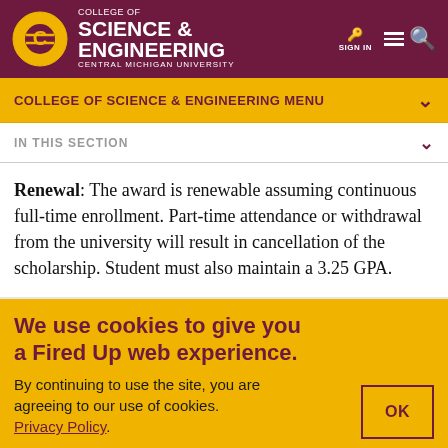[Figure (logo): Central Michigan University College of Science & Engineering logo with golden circle and 'C' emblem]
COLLEGE OF SCIENCE & ENGINEERING
CENTRAL MICHIGAN UNIVERSITY
COLLEGE OF SCIENCE & ENGINEERING MENU
IN THIS SECTION
Renewal: The award is renewable assuming continuous full-time enrollment. Part-time attendance or withdrawal from the university will result in cancellation of the scholarship. Student must also maintain a 3.25 GPA.
We use cookies to give you a Fired Up web experience.
By continuing to use the site, you are agreeing to our use of cookies. Privacy Policy.